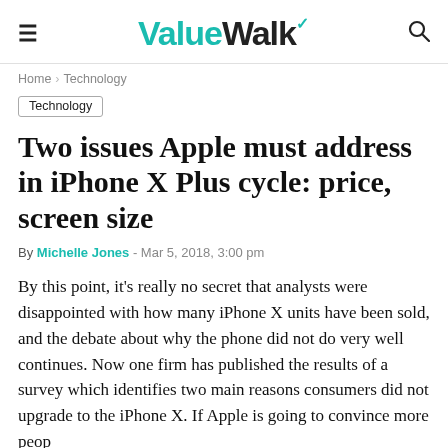ValueWalk
Home › Technology
Technology
Two issues Apple must address in iPhone X Plus cycle: price, screen size
By Michelle Jones - Mar 5, 2018, 3:00 pm
By this point, it's really no secret that analysts were disappointed with how many iPhone X units have been sold, and the debate about why the phone did not do very well continues. Now one firm has published the results of a survey which identifies two main reasons consumers did not upgrade to the iPhone X. If Apple is going to convince more people